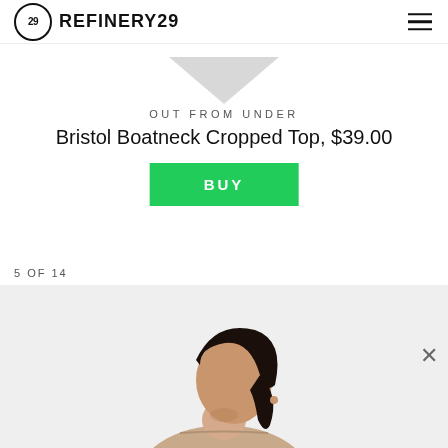REFINERY29
[Figure (illustration): Downward-pointing triangle/arrow shape in light gray]
OUT FROM UNDER
Bristol Boatneck Cropped Top, $39.00
BUY
5 OF 14
[Figure (photo): Woman with dark hair pulled back, wearing a beige boatneck cropped top, looking downward, against a light gray background]